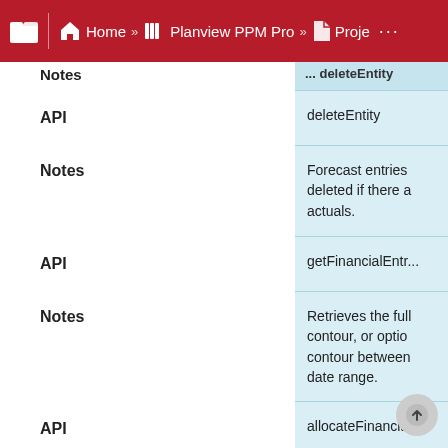Home » Planview PPM Pro » Proje ...
| Notes | deleteEntity / Notes / getFinancialEntr... / allocateFinancia... |
| --- | --- |
| API | deleteEntity |
| Notes | Forecast entries deleted if there a actuals. |
| API | getFinancialEntr... |
| Notes | Retrieves the full contour, or optio contour between date range. |
| API | allocateFinancia... |